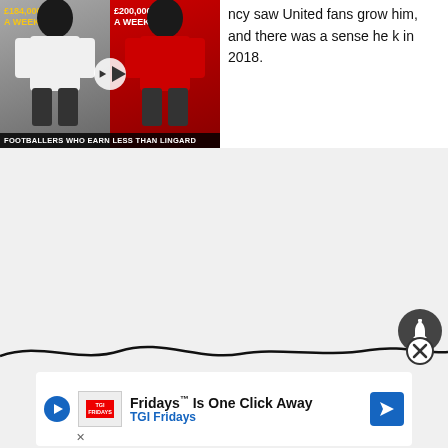icy saw United fans grow him, and there was a sense he k in 2018.
[Figure (screenshot): Video thumbnail showing two footballers side by side - player in white kit labelled £184,000 A WEEK and player in red Nottingham Forest kit labelled £200,000 A WEEK. Caption reads: FOOTBALLERS WHO EARN LESS THAN LINGARD]
[Figure (other): Bell notification icon (dark circular button) and a wavy black divider line with an X close button]
[Figure (other): Advertisement banner: Fridays Is One Click Away - TGI Fridays, with play button, logo, and blue arrow icon]